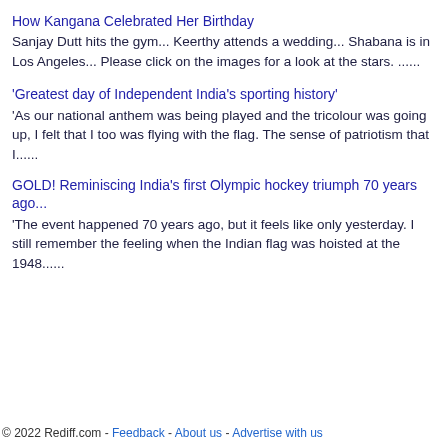How Kangana Celebrated Her Birthday
Sanjay Dutt hits the gym... Keerthy attends a wedding... Shabana is in Los Angeles... Please click on the images for a look at the stars.  ......
'Greatest day of Independent India's sporting history'
'As our national anthem was being played and the tricolour was going up, I felt that I too was flying with the flag. The sense of patriotism that I......
GOLD! Reminiscing India's first Olympic hockey triumph 70 years ago...
'The event happened 70 years ago, but it feels like only yesterday. I still remember the feeling when the Indian flag was hoisted at the 1948......
© 2022 Rediff.com - Feedback - About us - Advertise with us